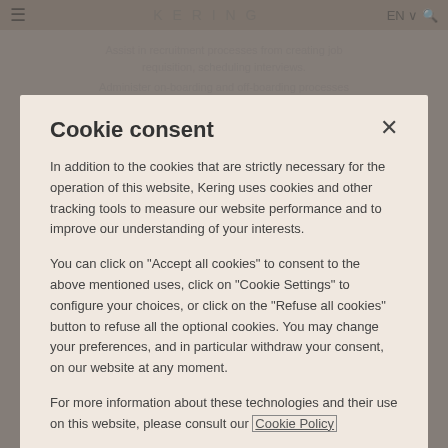Cookie consent
In addition to the cookies that are strictly necessary for the operation of this website, Kering uses cookies and other tracking tools to measure our website performance and to improve our understanding of your interests.
You can click on "Accept all cookies" to consent to the above mentioned uses, click on "Cookie Settings" to configure your choices, or click on the "Refuse all cookies" button to refuse all the optional cookies. You may change your preferences, and in particular withdraw your consent, on our website at any moment.
For more information about these technologies and their use on this website, please consult our Cookie Policy
Accept All Cookies
Reject All